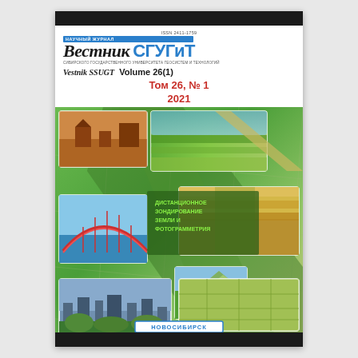Научный журнал Вестник СГУГиТ
Vestnik SSUGT   Volume 26(1)
Том 26, № 1
2021
[Figure (photo): Journal cover of Vestnik SSUGT Volume 26(1) 2021, showing collage of aerial and landscape photographs on a globe/map background with green fields, city views, and geographic imagery. Bottom shows НОВОСИБИРСК / NOVOSIBIRSK labels.]